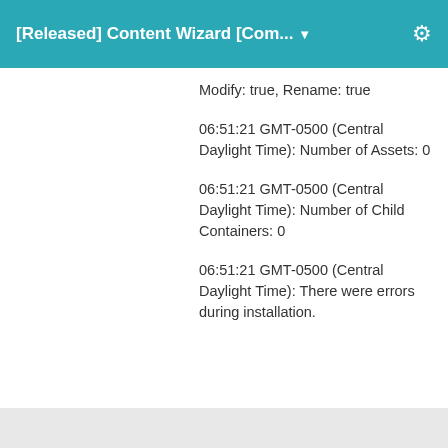[Released] Content Wizard [Com... ▼
Modify: true, Rename: true
06:51:21 GMT-0500 (Central Daylight Time): Number of Assets: 0
06:51:21 GMT-0500 (Central Daylight Time): Number of Child Containers: 0
06:51:21 GMT-0500 (Central Daylight Time): There were errors during installation.
[Figure (photo): User avatar showing a person wearing a futuristic helmet with gadgets and goggles, dressed in military-style clothing, pointing finger toward camera.]
aldypranata1920 said:
I'm sorry if this question has been asked before